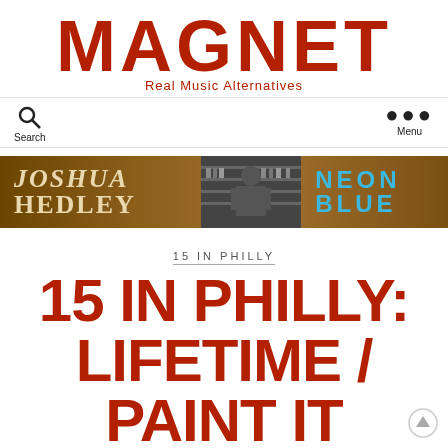MAGNET
Real Music Alternatives
[Figure (screenshot): Navigation bar with search icon and menu (three dots) button]
[Figure (infographic): Joshua Hedley Neon Blue album advertisement banner with brown background, artist photo, and neon blue text]
15 IN PHILLY
15 IN PHILLY: LIFETIME / PAINT IT BLACK /